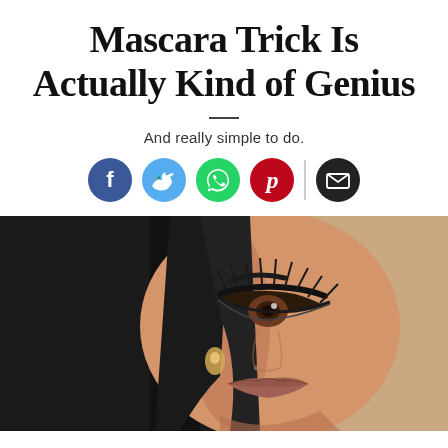Mascara Trick Is Actually Kind of Genius
And really simple to do.
[Figure (infographic): Social sharing icons row: Facebook (blue circle with f), Twitter (light blue circle with bird), WhatsApp (green circle with phone), Pinterest (red circle with P), divider line, Email (dark circle with envelope)]
[Figure (photo): Close-up portrait of a young woman with dramatic eye makeup, long lashes, dark straight hair, wearing a beige/nude lip, gold earring visible, against a tan/beige background]